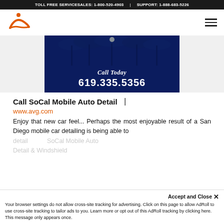TOLL FREE SERVICESALES: 1-800-520-4903   |   SUPPORT: 1-888-683-5226
[Figure (logo): Company logo with orange figure and swoosh mark]
[Figure (photo): Dark blue banner with palm trees silhouette, text 'Call Today 619.335.5356']
Call SoCal Mobile Auto Detail   |
www.avg.com
Enjoy that new car feel... Perhaps the most enjoyable result of a San Diego mobile car detailing is being able to
Accept and Close ×
Your browser settings do not allow cross-site tracking for advertising. Click on this page to allow AdRoll to use cross-site tracking to tailor ads to you. Learn more or opt out of this AdRoll tracking by clicking here. This message only appears once.